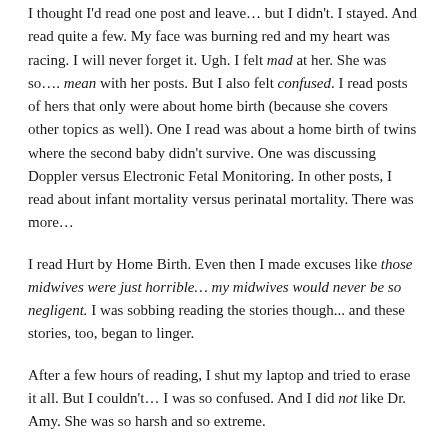I thought I'd read one post and leave… but I didn't. I stayed. And read quite a few. My face was burning red and my heart was racing. I will never forget it. Ugh. I felt mad at her. She was so…. mean with her posts. But I also felt confused. I read posts of hers that only were about home birth (because she covers other topics as well). One I read was about a home birth of twins where the second baby didn't survive. One was discussing Doppler versus Electronic Fetal Monitoring. In other posts, I read about infant mortality versus perinatal mortality. There was more…
I read Hurt by Home Birth. Even then I made excuses like those midwives were just horrible… my midwives would never be so negligent. I was sobbing reading the stories though... and these stories, too, began to linger.
After a few hours of reading, I shut my laptop and tried to erase it all. But I couldn't… I was so confused. And I did not like Dr. Amy. She was so harsh and so extreme.
Oh man did I have questions now… what the heck was all that??!
So I started asking questions to people I knew. I sent one of the